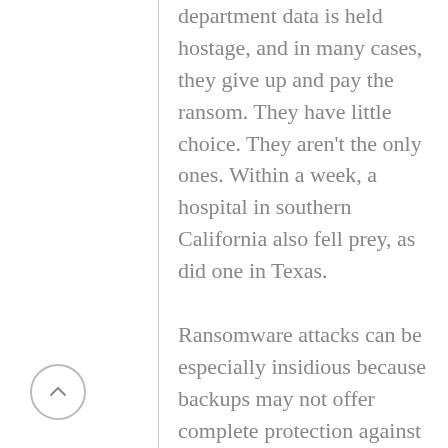department data is held hostage, and in many cases, they give up and pay the ransom. They have little choice. They aren't the only ones. Within a week, a hospital in southern California also fell prey, as did one in Texas.

Ransomware attacks can be especially insidious because backups may not offer complete protection against these criminals. Such new